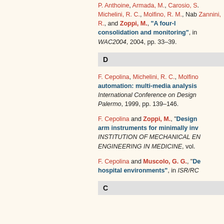P. Anthoine, Armada, M., Carosio, S., Michelini, R. C., Molfino, R. M., Nab..., Zannini, R., and Zoppi, M., "A four-legged robot for consolidation and monitoring", in ... WAC2004, 2004, pp. 33–39.
D
F. Cepolina, Michelini, R. C., Molfino... automation: multi-media analysis... International Conference on Design... Palermo, 1999, pp. 139–146.
F. Cepolina and Zoppi, M., "Design... arm instruments for minimally invasive... INSTITUTION OF MECHANICAL ENGINEERS ENGINEERING IN MEDICINE, vol. ...
F. Cepolina and Muscolo, G. G., "De... hospital environments", in ISR/RC...
C